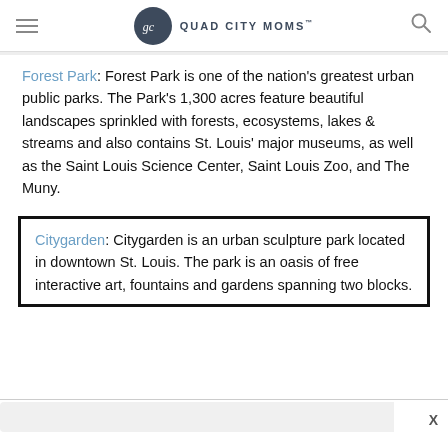QUAD CITY MOMS™
Forest Park: Forest Park is one of the nation's greatest urban public parks. The Park's 1,300 acres feature beautiful landscapes sprinkled with forests, ecosystems, lakes & streams and also contains St. Louis' major museums, as well as the Saint Louis Science Center, Saint Louis Zoo, and The Muny.
Citygarden: Citygarden is an urban sculpture park located in downtown St. Louis. The park is an oasis of free interactive art, fountains and gardens spanning two blocks.